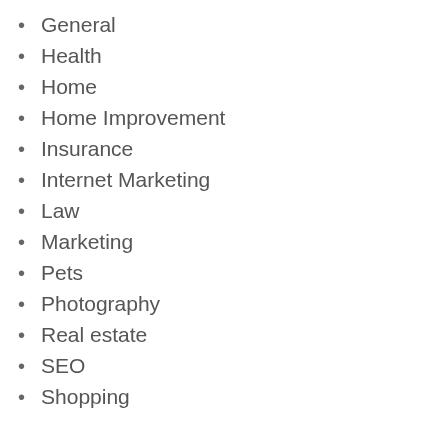General
Health
Home
Home Improvement
Insurance
Internet Marketing
Law
Marketing
Pets
Photography
Real estate
SEO
Shopping